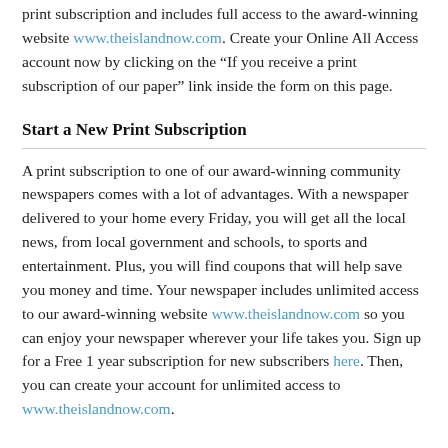print subscription and includes full access to the award-winning website www.theislandnow.com. Create your Online All Access account now by clicking on the “If you receive a print subscription of our paper” link inside the form on this page.
Start a New Print Subscription
A print subscription to one of our award-winning community newspapers comes with a lot of advantages. With a newspaper delivered to your home every Friday, you will get all the local news, from local government and schools, to sports and entertainment. Plus, you will find coupons that will help save you money and time. Your newspaper includes unlimited access to our award-winning website www.theislandnow.com so you can enjoy your newspaper wherever your life takes you. Sign up for a Free 1 year subscription for new subscribers here. Then, you can create your account for unlimited access to www.theislandnow.com.